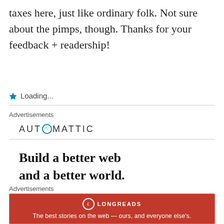taxes here, just like ordinary folk. Not sure about the pimps, though. Thanks for your feedback + readership!
⭐ Loading...
Advertisements
[Figure (logo): Automattic logo with stylized letter O as a circle with a target/at symbol]
Build a better web and a better world.
Advertisements
[Figure (infographic): Longreads advertisement banner: red background with Longreads logo and tagline 'The best stories on the web — ours, and everyone else's.']